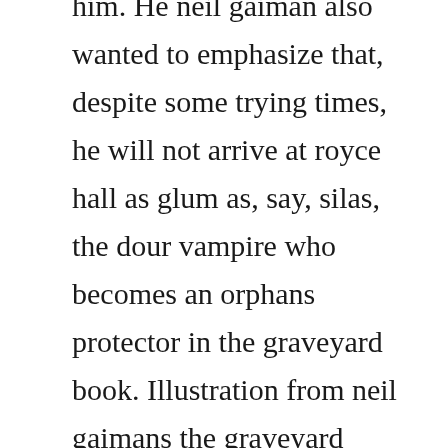him. He neil gaiman also wanted to emphasize that, despite some trying times, he will not arrive at royce hall as glum as, say, silas, the dour vampire who becomes an orphans protector in the graveyard book. Illustration from neil gaimans the graveyard book by chris riddell. If the grave makes you want to be somewhere else, that is the ghoulgate. The graveyard book by neil gaiman, sample of essays. It is set primarily in a graveyard, where the boy nobody owens is adopted and raised by the occupants after his family is murdered. Special content in this